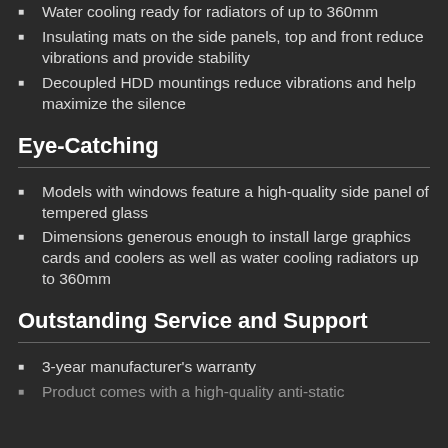Water cooling ready for radiators of up to 360mm
Insulating mats on the side panels, top and front reduce vibrations and provide stability
Decoupled HDD mountings reduce vibrations and help maximize the silence
Eye-Catching
Models with windows feature a high-quality side panel of tempered glass
Dimensions generous enough to install large graphics cards and coolers as well as water cooling radiators up to 360mm
Outstanding Service and Support
3-year manufacturer's warranty
Product comes with a high-quality anti-static...